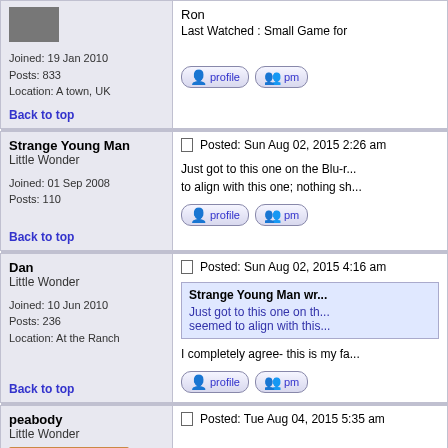| User | Post |
| --- | --- |
| Joined: 19 Jan 2010
Posts: 833
Location: A town, UK
Back to top | Ron
Last Watched : Small Game for...
[profile] [pm] |
| Strange Young Man
Little Wonder
Joined: 01 Sep 2008
Posts: 110
Back to top | Posted: Sun Aug 02, 2015 2:26 am
Just got to this one on the Blu-r... to align with this one; nothing sh...
[profile] [pm] |
| Dan
Little Wonder
Joined: 10 Jun 2010
Posts: 236
Location: At the Ranch
Back to top | Posted: Sun Aug 02, 2015 4:16 am
Strange Young Man wr...
Just got to this one on th... seemed to align with this...
I completely agree- this is my fa...
[profile] [pm] |
| peabody
Little Wonder
[avatar] | Posted: Tue Aug 04, 2015 5:35 am |